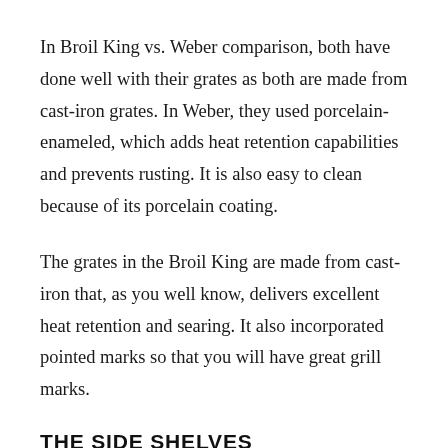In Broil King vs. Weber comparison, both have done well with their grates as both are made from cast-iron grates. In Weber, they used porcelain-enameled, which adds heat retention capabilities and prevents rusting. It is also easy to clean because of its porcelain coating.
The grates in the Broil King are made from cast-iron that, as you well know, delivers excellent heat retention and searing. It also incorporated pointed marks so that you will have great grill marks.
THE SIDE SHELVES